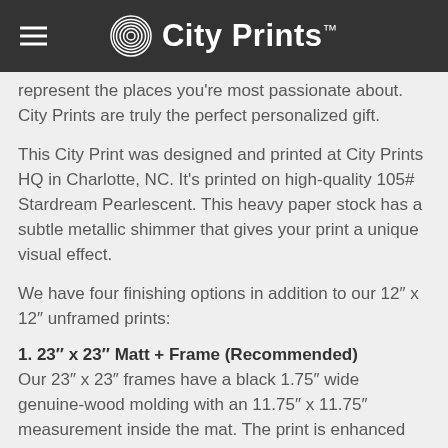City Prints™
represent the places you're most passionate about. City Prints are truly the perfect personalized gift.
This City Print was designed and printed at City Prints HQ in Charlotte, NC. It's printed on high-quality 105# Stardream Pearlescent. This heavy paper stock has a subtle metallic shimmer that gives your print a unique visual effect.
We have four finishing options in addition to our 12″ x 12″ unframed prints:
1. 23″ x 23″ Matt + Frame (Recommended)
Our 23″ x 23″ frames have a black 1.75″ wide genuine-wood molding with an 11.75″ x 11.75″ measurement inside the mat. The print is enhanced with a soft white acid-free mat, which is bevel cut and placed on top of the print. The print and matt